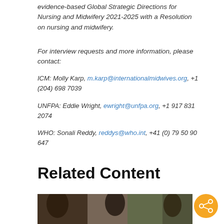evidence-based Global Strategic Directions for Nursing and Midwifery 2021-2025 with a Resolution on nursing and midwifery.
For interview requests and more information, please contact:
ICM: Molly Karp, m.karp@internationalmidwives.org, +1 (204) 698 7039
UNFPA: Eddie Wright, ewright@unfpa.org, +1 917 831 2074
WHO: Sonali Reddy, reddys@who.int, +41 (0) 79 50 90 647
Related Content
[Figure (photo): Photo strip showing people, partially visible at bottom of page]